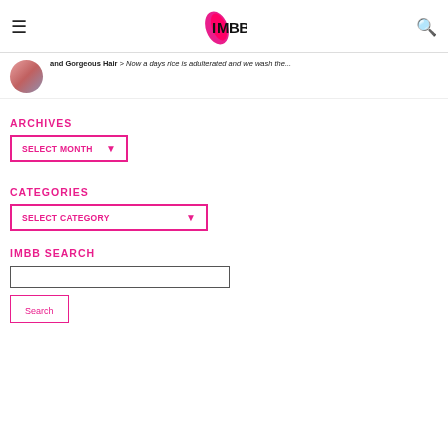IMBB logo header with hamburger menu and search icon
and Gorgeous Hair > Now a days rice is adulterated and we wash the...
ARCHIVES
SELECT MONTH
CATEGORIES
SELECT CATEGORY
IMBB SEARCH
Search